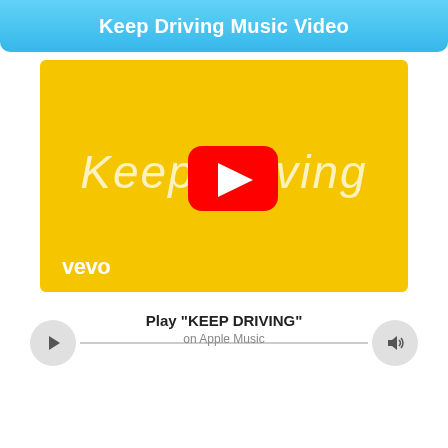Keep Driving Music Video
[Figure (screenshot): YouTube/Vevo music video thumbnail for 'Keep Driving' — yellow background with thin white italic text reading 'Keep Driving', YouTube red play button in center, 'vevo' logo in bottom-left corner]
Play "KEEP DRIVING" on Apple Music